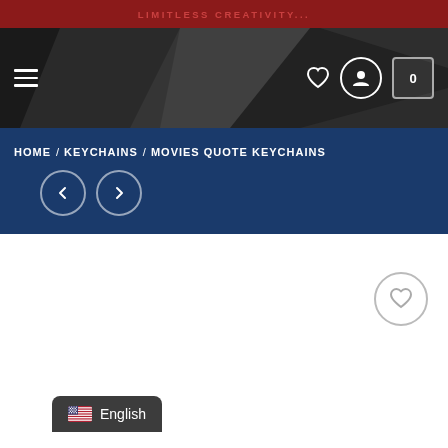LIMITLESS CREATIVITY...
[Figure (screenshot): E-commerce website header with dark polygon geometric background, hamburger menu icon on left, heart/user/cart icons on right]
HOME / KEYCHAINS / MOVIES QUOTE KEYCHAINS
[Figure (other): Navigation previous and next arrow buttons (circular, white outline) on blue background]
[Figure (other): White product listing area with circular heart/wishlist icon on upper right]
English